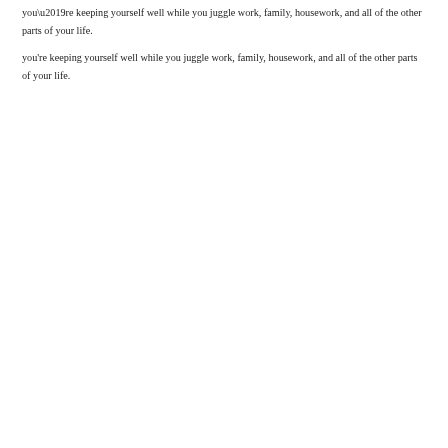you’re keeping yourself well while you juggle work, family, housework, and all of the other parts of your life.
What to Include In Your Checklist
Your checklist can be anything you want it to be, but here are a few tips gleaned from almost a decade of using checklists at the shop:
Stick to the bare necessities. If you’re trying to include absolutely everything you’d like to happen on an ideal day, your checklist can quickly become overwhelming. Skip the things you already do automatically no matter what, and the things that are nice to do but aren’t essential to your wellbeing. Include only the activities that make a noticeable difference in your health, mindset, or energy level, and that tend to get forgotten or skipped when things get busy.
Keep each item in the list brief. Your checklist is an at a glance